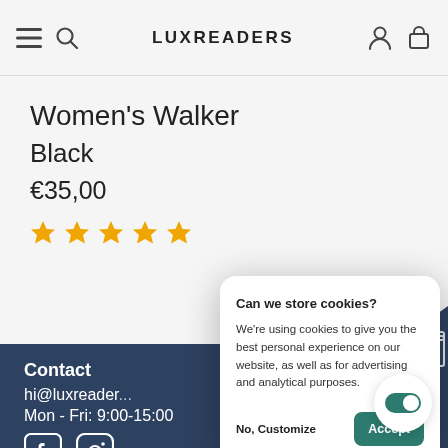LUXREADERS
Women's Walker
Black
€35,00
[Figure (other): Five gold star rating icons]
[Figure (other): Cookie consent modal with title 'Can we store cookies?', body text about cookies, and buttons 'No, Customize' and 'Accept']
Contact
hi@luxreader...
Mon - Fri: 9:00-15:00
[Figure (other): Facebook and Instagram social media icons in white]
[Figure (other): Toggle switch button (green, toggled on) in white circle]